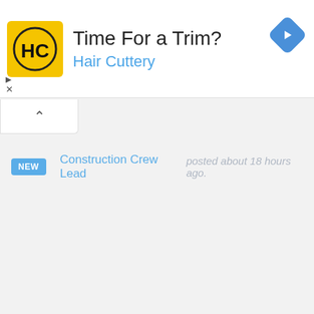[Figure (screenshot): Hair Cuttery advertisement banner with yellow HC logo, text 'Time For a Trim?' and 'Hair Cuttery' in blue, and a blue diamond navigation arrow icon on the right.]
NEW   Construction Crew Lead   posted about 18 hours ago.